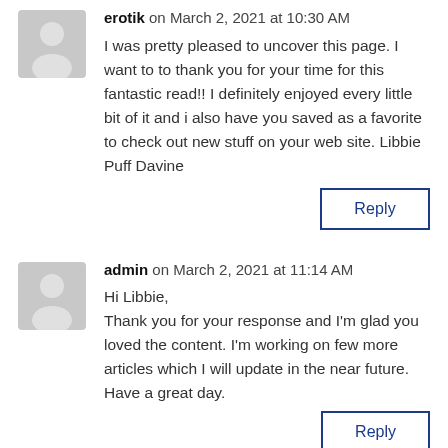erotik on March 2, 2021 at 10:30 AM
I was pretty pleased to uncover this page. I want to to thank you for your time for this fantastic read!! I definitely enjoyed every little bit of it and i also have you saved as a favorite to check out new stuff on your web site. Libbie Puff Davine
Reply
admin on March 2, 2021 at 11:14 AM
Hi Libbie,
Thank you for your response and I'm glad you loved the content. I'm working on few more articles which I will update in the near future.
Have a great day.
Reply